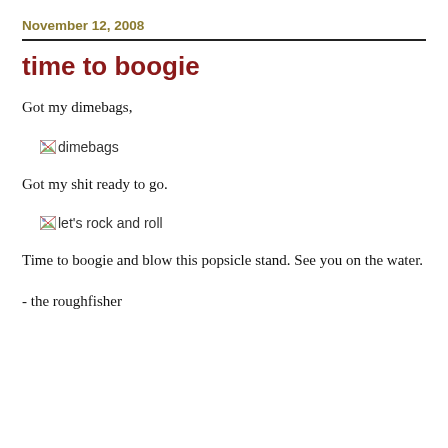November 12, 2008
time to boogie
Got my dimebags,
[Figure (photo): Broken/missing image placeholder with alt text 'dimebags']
Got my shit ready to go.
[Figure (photo): Broken/missing image placeholder with alt text 'let’s rock and roll']
Time to boogie and blow this popsicle stand. See you on the water.
- the roughfisher